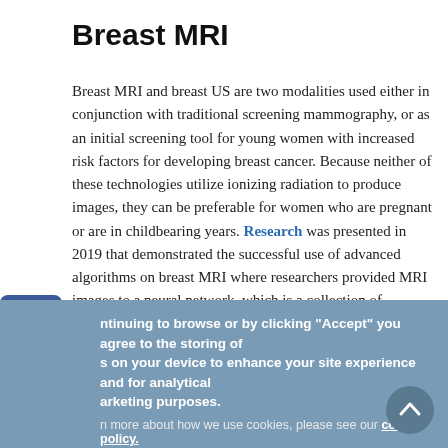Breast MRI
Breast MRI and breast US are two modalities used either in conjunction with traditional screening mammography, or as an initial screening tool for young women with increased risk factors for developing breast cancer. Because neither of these technologies utilize ionizing radiation to produce images, they can be preferable for women who are pregnant or are in childbearing years. Research was presented in 2019 that demonstrated the successful use of advanced algorithms on breast MRI where researchers provided MRI images to a neural network, which is a collection of computer-based
ntinuing to browse or by clicking “Accept” you agree to the storing of s on your device to enhance your site experience and for analytical arketing purposes.
n more about how we use cookies, please see our cookie policy.
OK, I agree   No, thanks